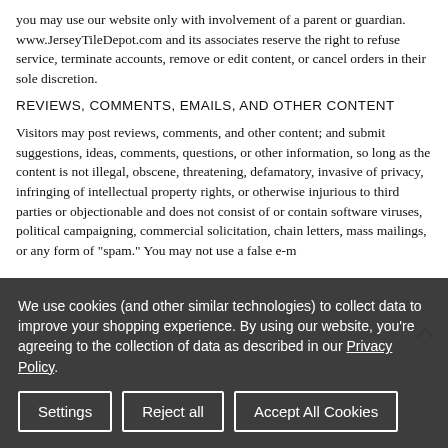you may use our website only with involvement of a parent or guardian. www.JerseyTileDepot.com and its associates reserve the right to refuse service, terminate accounts, remove or edit content, or cancel orders in their sole discretion.
REVIEWS, COMMENTS, EMAILS, AND OTHER CONTENT
Visitors may post reviews, comments, and other content; and submit suggestions, ideas, comments, questions, or other information, so long as the content is not illegal, obscene, threatening, defamatory, invasive of privacy, infringing of intellectual property rights, or otherwise injurious to third parties or objectionable and does not consist of or contain software viruses, political campaigning, commercial solicitation, chain letters, mass mailings, or any form of "spam." You may not use a false e-m...
We use cookies (and other similar technologies) to collect data to improve your shopping experience. By using our website, you're agreeing to the collection of data as described in our Privacy Policy.